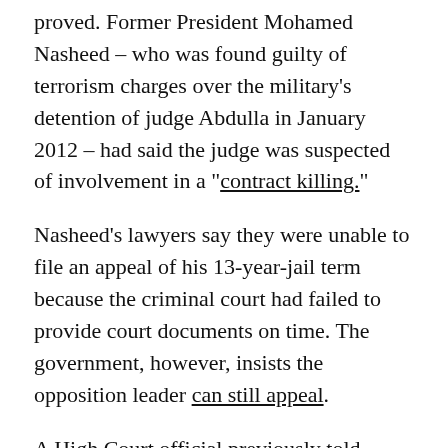proved. Former President Mohamed Nasheed – who was found guilty of terrorism charges over the military's detention of judge Abdulla in January 2012 – had said the judge was suspected of involvement in a “contract killing.”
Nasheed's lawyers say they were unable to file an appeal of his 13-year-jail term because the criminal court had failed to provide court documents on time. The government, however, insists the opposition leader can still appeal.
A High Court official previously told Minivan News that judges can accept late appeals if a reasonable justification is given, such as the lower court’s failure to provide detailed reports.
But Nasheed’s lawyers say there is no legal avenue to file an appeal, because the Supreme Court has